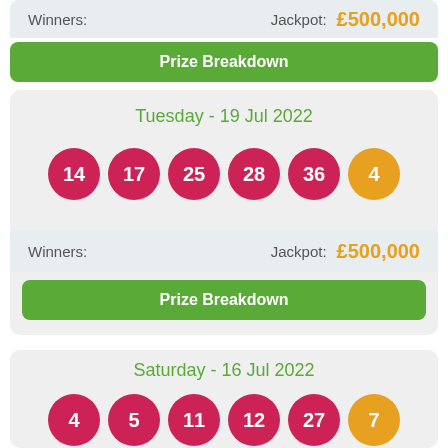Winners:    Jackpot: £500,000
Prize Breakdown
Tuesday - 19 Jul 2022
[Figure (infographic): Lottery balls showing numbers 14, 17, 25, 28, 36 (red) and 4 (gold/bonus)]
Winners:    Jackpot: £500,000
Prize Breakdown
Saturday - 16 Jul 2022
[Figure (infographic): Lottery balls showing numbers 4, 5, 11, 12, 27 (red) and 7 (gold/bonus)]